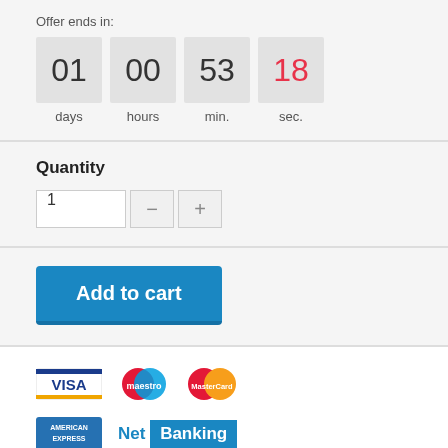Offer ends in:
[Figure (infographic): Countdown timer showing 01 days, 00 hours, 53 min., 18 sec. with last number in red]
Quantity
[Figure (infographic): Quantity input field showing 1 with minus and plus buttons]
[Figure (infographic): Add to cart blue button]
[Figure (infographic): Payment method logos: VISA, Maestro, MasterCard, American Express, Net Banking]
MORE INFO